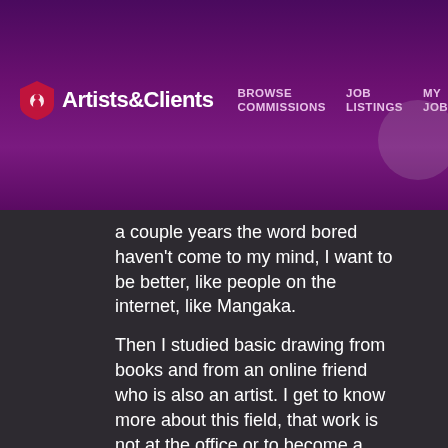Artists&Clients — BROWSE COMMISSIONS | JOB LISTINGS | MY JOBS | LIN
a couple years the word bored haven't come to my mind, I want to be better, like people on the internet, like Mangaka.

Then I studied basic drawing from books and from an online friend who is also an artist. I get to know more about this field, that work is not at the office or to become a doctor. Studying by myself sure is hard, thankfully online friends...